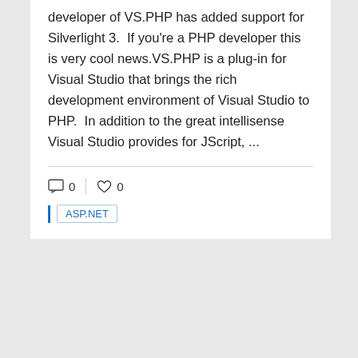developer of VS.PHP has added support for Silverlight 3.  If you're a PHP developer this is very cool news.VS.PHP is a plug-in for Visual Studio that brings the rich development environment of Visual Studio to PHP.  In addition to the great intellisense Visual Studio provides for JScript, ...
□ 0   ♡ 0
ASP.NET
ASP.NET MVC 1.0 now Live!
March 18, 2009